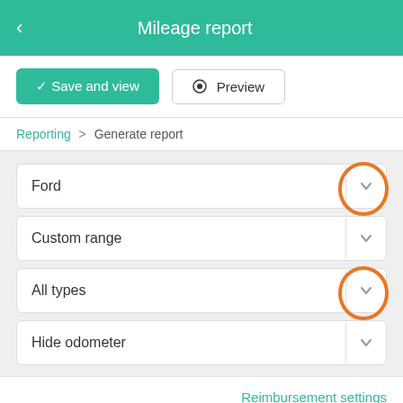Mileage report
✓ Save and view
● Preview
Reporting > Generate report
Ford
Custom range
All types
Hide odometer
Reimbursement settings